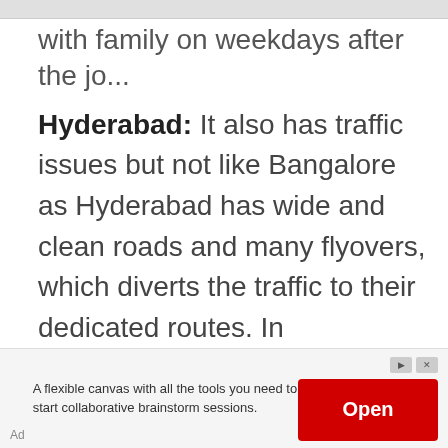...with family on weekdays after the jo...
Hyderabad: It also has traffic issues but not like Bangalore as Hyderabad has wide and clean roads and many flyovers, which diverts the traffic to their dedicated routes. In Comparison with Bangalore, this city has relatively less population and cars. You may experience slow movement during peak hours, but it will still get clear in...
Ad  A flexible canvas with all the tools you need to start collaborative brainstorm sessions.  Open